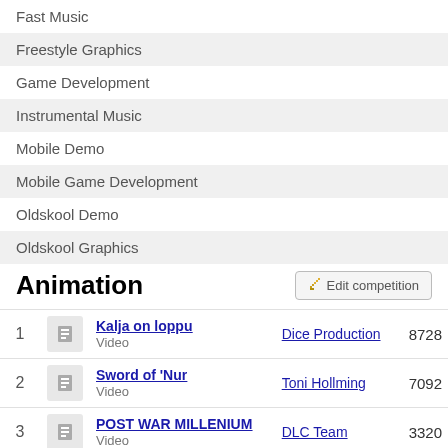Fast Music
Freestyle Graphics
Game Development
Instrumental Music
Mobile Demo
Mobile Game Development
Oldskool Demo
Oldskool Graphics
Animation
| Rank | Icon | Title/Type | Author | Score |
| --- | --- | --- | --- | --- |
| 1 |  | Kalja on loppu / Video | Dice Production | 8728 |
| 2 |  | Sword of 'Nur / Video | Toni Hollming | 7092 |
| 3 |  | POST WAR MILLENIUM / Video | DLC Team | 3320 |
| 4 |  | Energy of The Atom / Video | Jyri Tuulos | 2780 |